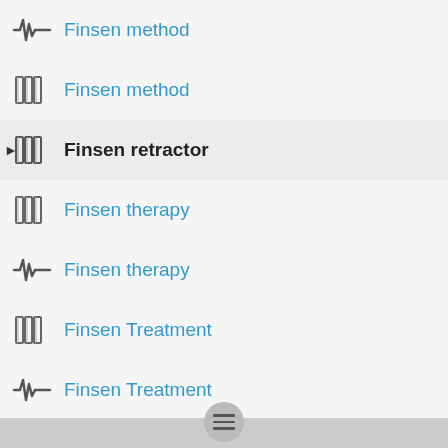Finsen method
Finsen method
Finsen retractor
Finsen therapy
Finsen therapy
Finsen Treatment
Finsen Treatment